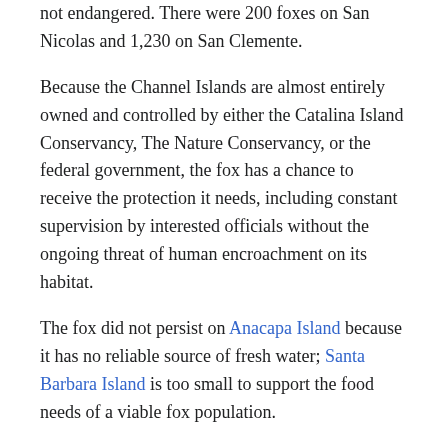not endangered. There were 200 foxes on San Nicolas and 1,230 on San Clemente.
Because the Channel Islands are almost entirely owned and controlled by either the Catalina Island Conservancy, The Nature Conservancy, or the federal government, the fox has a chance to receive the protection it needs, including constant supervision by interested officials without the ongoing threat of human encroachment on its habitat.
The fox did not persist on Anacapa Island because it has no reliable source of fresh water; Santa Barbara Island is too small to support the food needs of a viable fox population.
Rene Vellanoweth, an archaeologist, believes that inbreeding depression can be managed by mixing the different island fox subspecies populations much as the indigenous peoples did, by moving them from island to island, creating a higher genetic diversity and assisting them in recovery.[31]
Genetics